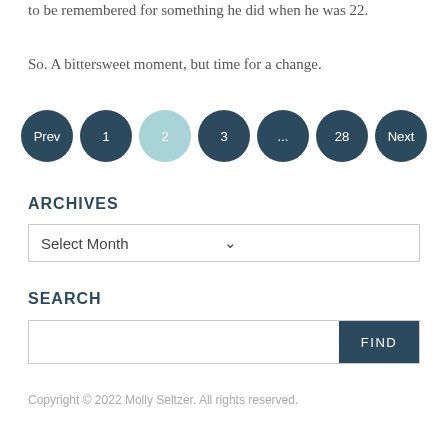to be remembered for something he did when he was 22.
So. A bittersweet moment, but time for a change.
[Figure (other): Pagination navigation with circular buttons: Prev, 1, 2 (active/highlighted), 3, ..., 28, Next]
ARCHIVES
Select Month
SEARCH
FIND
Copyright © 2022 Molly Seltzer. All rights reserved.